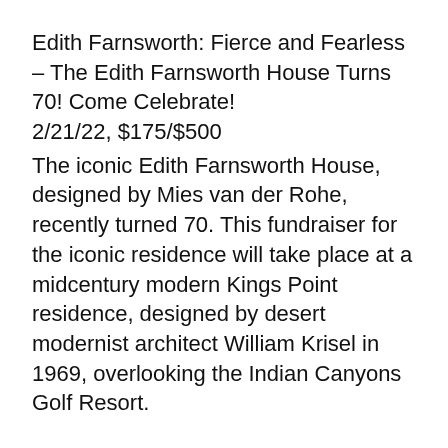Edith Farnsworth: Fierce and Fearless – The Edith Farnsworth House Turns 70! Come Celebrate! 2/21/22, $175/$500
The iconic Edith Farnsworth House, designed by Mies van der Rohe, recently turned 70. This fundraiser for the iconic residence will take place at a midcentury modern Kings Point residence, designed by desert modernist architect William Krisel in 1969, overlooking the Indian Canyons Golf Resort.
Sister Corita Kent – God's Own Pop-Artist 2/18/22, $15
Sister Corita was an artist and advocate for social justice whose work reflects the ascendancy of pop